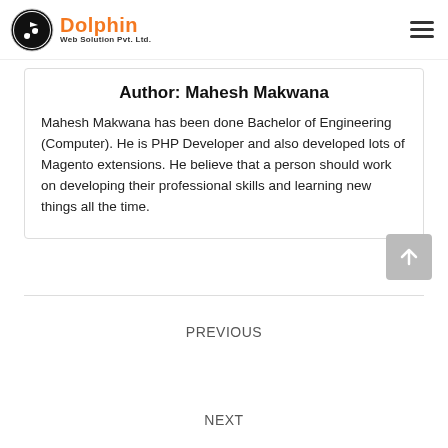Dolphin Web Solution Pvt. Ltd.
Author: Mahesh Makwana
Mahesh Makwana has been done Bachelor of Engineering (Computer). He is PHP Developer and also developed lots of Magento extensions. He believe that a person should work on developing their professional skills and learning new things all the time.
PREVIOUS
NEXT